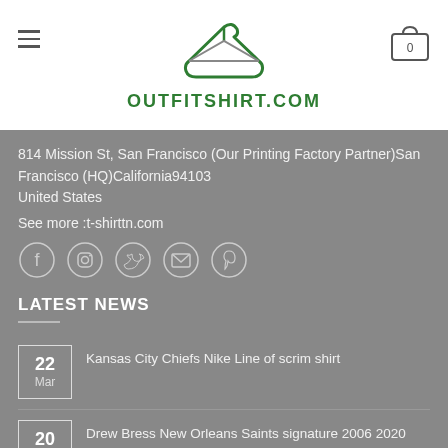[Figure (logo): OutfitShirt.com logo with a clothes hanger icon above the text]
814 Mission St, San Francisco (Our Printing Factory Partner)San Francisco (HQ)California94103
United States
See more :t-shirttn.com
[Figure (other): Social media icons: Facebook, Instagram, Twitter, Email, Pinterest]
LATEST NEWS
22 Mar — Kansas City Chiefs Nike Line of scrim shirt
20 Mar — Drew Bress New Orleans Saints signature 2006 2020 one a Saints always a Saints shirt
16 — The Golf Father shirt